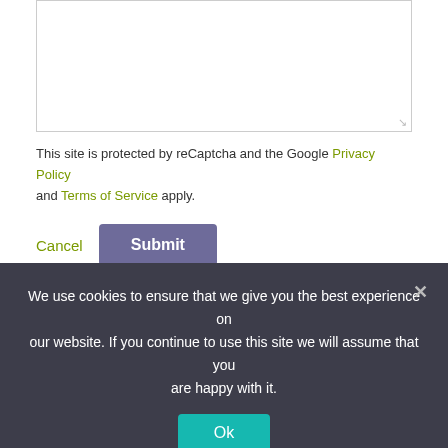[Figure (screenshot): A textarea input box with a resize handle at the bottom-right corner]
This site is protected by reCaptcha and the Google Privacy Policy and Terms of Service apply.
Cancel  Submit
Account
Login
We use cookies to ensure that we give you the best experience on our website. If you continue to use this site we will assume that you are happy with it.
Ok